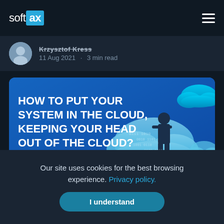softax
Krzysztof Kress
11 Aug 2021 · 3 min read
[Figure (illustration): Article hero image with blue background showing cloud computing illustration with text: HOW TO PUT YOUR SYSTEM IN THE CLOUD, KEEPING YOUR HEAD OUT OF THE CLOUD? S02]
Our site uses cookies for the best browsing experience. Privacy policy.
I understand